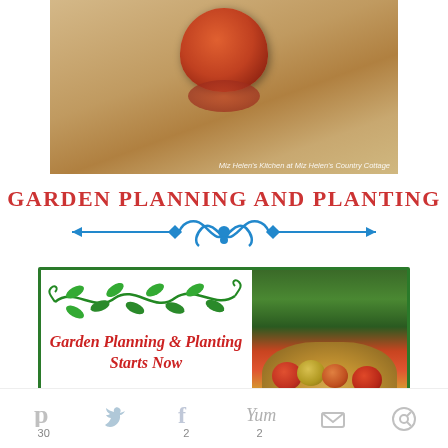[Figure (photo): Close-up photo of a tomato on a burlap/tan textured surface with watermark text 'Miz Helen's Kitchen at Miz Helen's Country Cottage']
GARDEN PLANNING AND PLANTING
[Figure (illustration): Decorative blue horizontal divider with arrow ends and ornamental scroll design in center]
[Figure (infographic): Banner box with green border containing vine/leaf decoration, text 'Garden Planning & Planting Starts Now' in red italic, and a photo of a basket of tomatoes on the right]
Pinterest 30  Twitter  Facebook 2  Yum 2  Email  Share